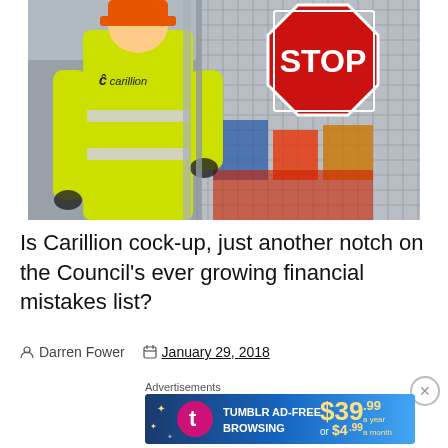[Figure (photo): Construction worker in yellow high-visibility Carillion jacket seen from behind, standing near a metal fence/gate with a red STOP sign and construction equipment/materials in background.]
Is Carillion cock-up, just another notch on the Council's ever growing financial mistakes list?
Darren Fower   January 29, 2018
Advertisements
[Figure (screenshot): Tumblr AD-FREE BROWSING advertisement: $39.99 a year or $4.99 a month]